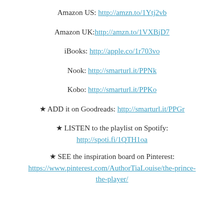Amazon US: http://amzn.to/1Ytj2vb
Amazon UK: http://amzn.to/1VXBjD7
iBooks: http://apple.co/1r703vo
Nook: http://smarturl.it/PPNk
Kobo: http://smarturl.it/PPKo
★ ADD it on Goodreads: http://smarturl.it/PPGr
★ LISTEN to the playlist on Spotify: http://spoti.fi/1QTH1oa
★ SEE the inspiration board on Pinterest: https://www.pinterest.com/AuthorTiaLouise/the-prince-the-player/